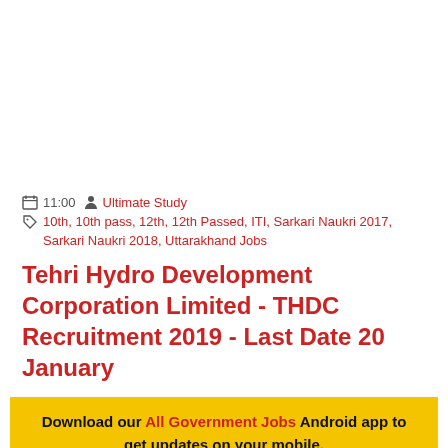11:00   Ultimate Study
10th, 10th pass, 12th, 12th Passed, ITI, Sarkari Naukri 2017, Sarkari Naukri 2018, Uttarakhand Jobs
Tehri Hydro Development Corporation Limited - THDC Recruitment 2019 - Last Date 20 January
Download our All Government Jobs Android app to get updates on your mobile.